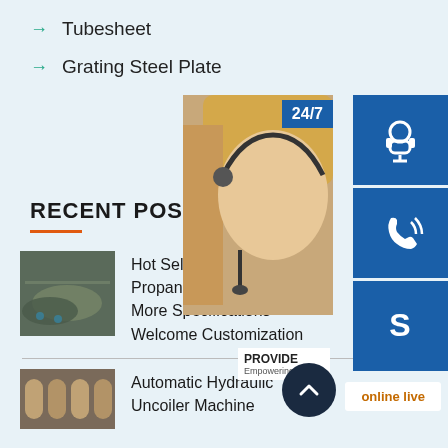Tubesheet
Grating Steel Plate
RECENT POSTS
[Figure (photo): Industrial tubesheet metal plates in a factory]
Hot Selling 20m3 L Propane Storage T More Specifications Welcome Customization
[Figure (photo): Automatic Hydraulic Uncoiler Machine coils]
Automatic Hydraulic Uncoiler Machine
[Figure (photo): Customer service representative with headset - 24/7 support widget overlay with contact icons]